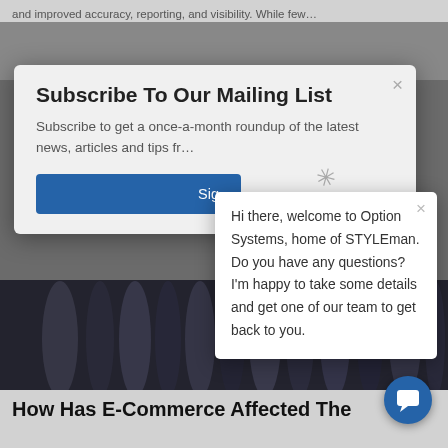and improved accuracy, reporting, and visibility. While few…
Subscribe To Our Mailing List
Subscribe to get a once-a-month roundup of the latest news, articles and tips fr…
Sig…
Hi there, welcome to Option Systems, home of STYLEman. Do you have any questions? I'm happy to take some details and get one of our team to get back to you.
How Has E-Commerce Affected The